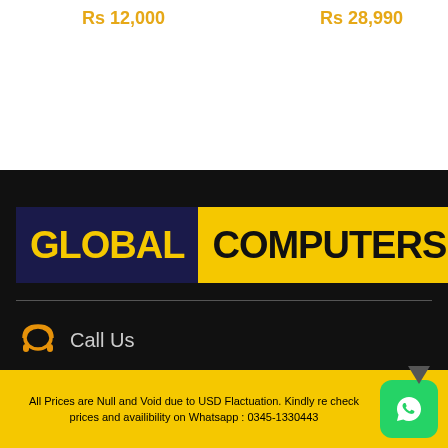Rs 12,000
Rs 28,990
[Figure (logo): Global Computers logo with dark navy background showing GLOBAL in yellow text, and yellow background showing COMPUTERS in black text]
Call Us
All Prices are Null and Void due to USD Flactuation. Kindly re check prices and availibility on Whatsapp : 0345-1330443